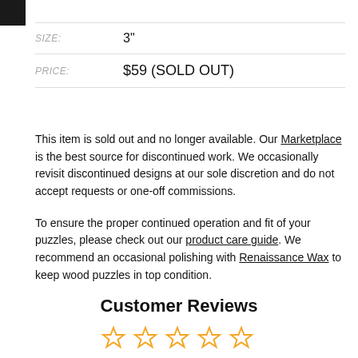|  |  |
| --- | --- |
| SIZE: | 3" |
| PRICE: | $59 (SOLD OUT) |
This item is sold out and no longer available. Our Marketplace is the best source for discontinued work. We occasionally revisit discontinued designs at our sole discretion and do not accept requests or one-off commissions.
To ensure the proper continued operation and fit of your puzzles, please check out our product care guide. We recommend an occasional polishing with Renaissance Wax to keep wood puzzles in top condition.
Customer Reviews
[Figure (other): Five empty star ratings in orange/gold color]